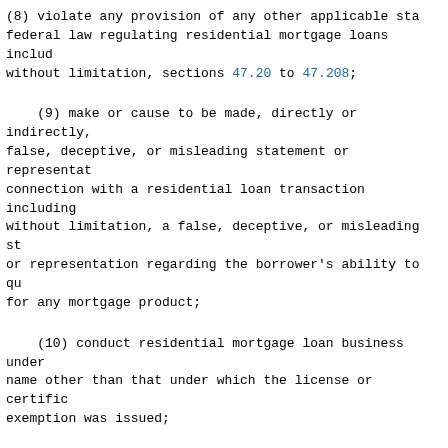(8) violate any provision of any other applicable state or federal law regulating residential mortgage loans including without limitation, sections 47.20 to 47.208;
(9) make or cause to be made, directly or indirectly, false, deceptive, or misleading statement or representation in connection with a residential loan transaction including without limitation, a false, deceptive, or misleading statement or representation regarding the borrower's ability to qualify for any mortgage product;
(10) conduct residential mortgage loan business under any name other than that under which the license or certificate of exemption was issued;
(11) compensate, whether directly or indirectly, coerce, or intimidate an appraiser for the purpose of influencing the independent judgment of the appraiser with respect to the value of real estate that is to be covered by a residential mortgage or is being offered as security according to an application for a residential mortgage loan;